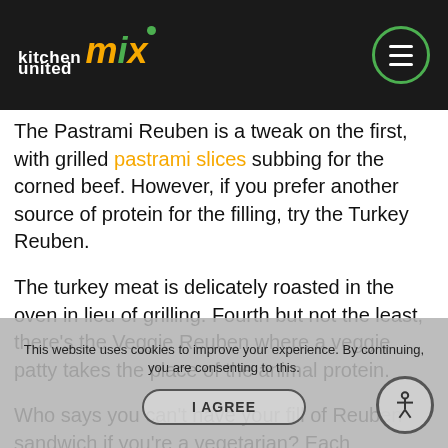kitchen united mix
The Pastrami Reuben is a tweak on the first, with grilled pastrami slices subbing for the corned beef. However, if you prefer another source of protein for the filling, try the Turkey Reuben.
The turkey meat is delicately roasted in the oven in lieu of grilling. Fourth but not the least, there's the Veggie Reuben where a veggie patty takes the place of the animal protein.
Who says you can't have your fill of Reuben sandwich if you're a vegetarian? Each sandwich comes with your pick of fries, fresh fruit, Kettle chips, or a side salad. A gluten-free option is offered.
This website uses cookies to improve your experience. By continuing, you are consenting to this.